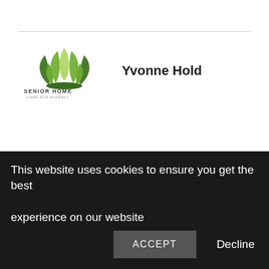[Figure (logo): Senior Home Care For Elderly logo with green lotus/leaf icon and text]
Yvonne Hold
View all posts by Yvonne Hold →
OLDER POST
How To Succeed With A Community Marketing
This website uses cookies to ensure you get the best experience on our website